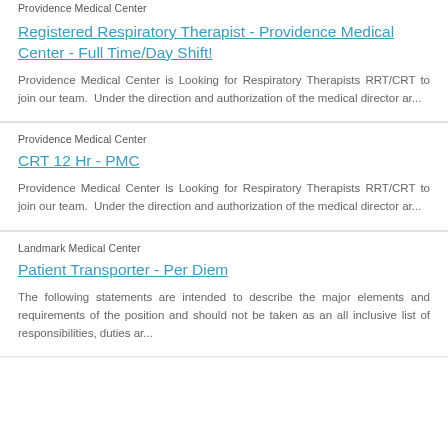Providence Medical Center
Registered Respiratory Therapist - Providence Medical Center - Full Time/Day Shift!
Providence Medical Center is Looking for Respiratory Therapists RRT/CRT to join our team. Under the direction and authorization of the medical director ar...
Providence Medical Center
CRT 12 Hr - PMC
Providence Medical Center is Looking for Respiratory Therapists RRT/CRT to join our team. Under the direction and authorization of the medical director ar...
Landmark Medical Center
Patient Transporter - Per Diem
The following statements are intended to describe the major elements and requirements of the position and should not be taken as an all inclusive list of responsibilities, duties ar...